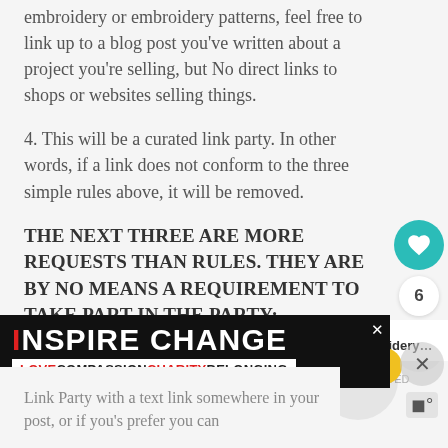embroidery or embroidery patterns, feel free to link up to a blog post you've written about a project you're selling, but No direct links to shops or websites selling things.
4. This will be a curated link party. In other words, if a link does not conform to the three simple rules above, it will be removed.
THE NEXT THREE ARE MORE REQUESTS THAN RULES. THEY ARE BY NO MEANS A REQUIREMENT TO TAKE PART IN THE PARTY:
[Figure (other): INSPIRE CHANGE advertisement banner with rainbow colored LOVE COMPASSION CHARITY BELONGING tagline on dark background]
Link Party with a text link somewhere in your post, or if you're prefer you can